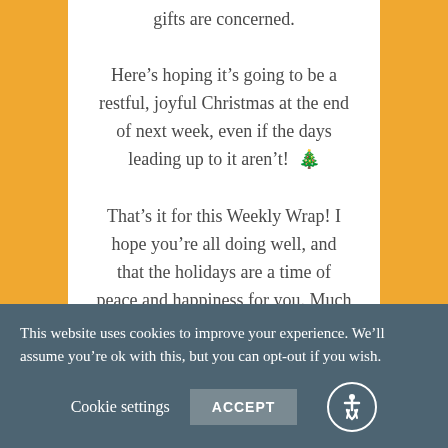gifts are concerned.
Here’s hoping it’s going to be a restful, joyful Christmas at the end of next week, even if the days leading up to it aren’t! 🎄
That’s it for this Weekly Wrap! I hope you’re all doing well, and that the holidays are a time of peace and happiness for you. Much love to you all, and see you next week! 💛
This website uses cookies to improve your experience. We’ll assume you’re ok with this, but you can opt-out if you wish.
Cookie settings  ACCEPT